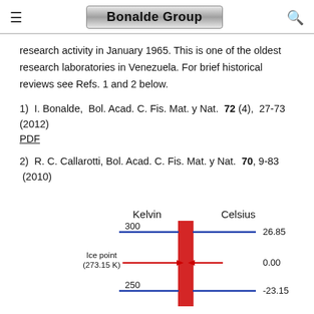Bonalde Group
research activity in January 1965. This is one of the oldest research laboratories in Venezuela. For brief historical reviews see Refs. 1 and 2 below.
1)  I. Bonalde,  Bol. Acad. C. Fis. Mat. y Nat.  72 (4),  27-73 (2012) PDF
2)  R. C. Callarotti, Bol. Acad. C. Fis. Mat. y Nat.  70, 9-83  (2010)
[Figure (infographic): Temperature scale diagram showing Kelvin and Celsius columns with a red vertical bar. Ice point (273.15 K) label with red arrow pointing to the bar. Blue horizontal lines mark 300 K (26.85°C), ice point 0.00°C, and 250 K (-23.15°C).]